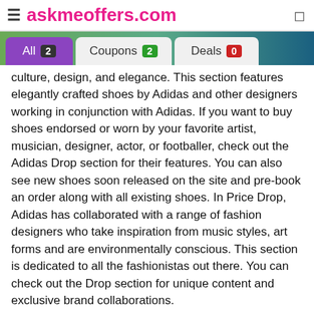≡ askmeoffers.com
All 2   Coupons 2   Deals 0
culture, design, and elegance. This section features elegantly crafted shoes by Adidas and other designers working in conjunction with Adidas. If you want to buy shoes endorsed or worn by your favorite artist, musician, designer, actor, or footballer, check out the Adidas Drop section for their features. You can also see new shoes soon released on the site and pre-book an order along with all existing shoes. In Price Drop, Adidas has collaborated with a range of fashion designers who take inspiration from music styles, art forms and are environmentally conscious. This section is dedicated to all the fashionistas out there. You can check out the Drop section for unique content and exclusive brand collaborations.
Adidas Outlet Offers ( Avail maximum discount FLAT 50%)
Check out their outlet offers if you're looking for affordable shoes with the Adidas logo. These contain shoes with a price drop with discounts as high as 50%. Not just shoes, but you